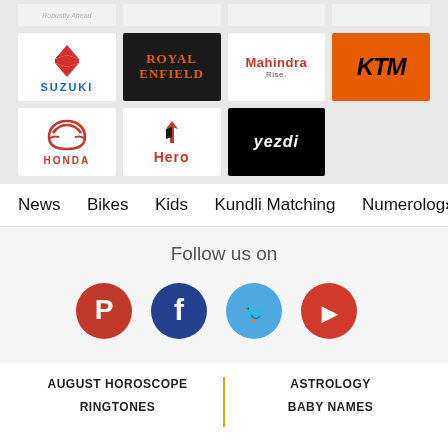[Figure (logo): Grid of motorcycle brand logos: partial top row (blurred), then Suzuki, Royal Enfield, Mahindra Rise, KTM, Honda, Hero, Yezdi]
News   Bikes   Kids   Kundli Matching   Numerology >
Follow us on
[Figure (infographic): Social media icons: Pinterest (red), Facebook (dark blue), Twitter (blue), YouTube (red)]
AUGUST HOROSCOPE | ASTROLOGY
RINGTONES | BABY NAMES